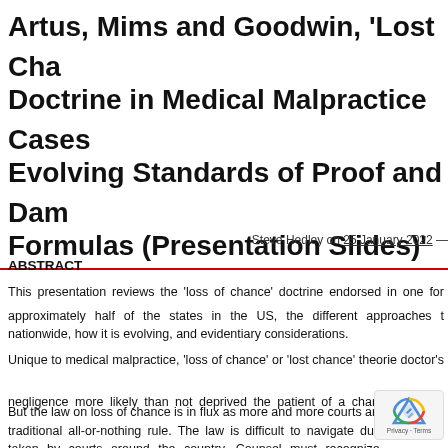Artus, Mims and Goodwin, 'Lost Chance Doctrine in Medical Malpractice Cases: Evolving Standards of Proof and Damages Formulas (Presentation Slides)'
Steve Hedley on 25 January 2022 —
ABSTRACT
This presentation reviews the 'loss of chance' doctrine endorsed in one form or another by approximately half of the states in the US, the different approaches taken nationwide, how it is evolving, and evidentiary considerations.
Unique to medical malpractice, 'loss of chance' or 'lost chance' theories address when a doctor's negligence more likely than not deprived the patient of a chance of a better outcome. A majority of the states that have considered the question have adopted the loss of chance doctrine, in one form or another.
But the law on loss of chance is in flux as more and more courts are rejecting the traditional all-or-nothing rule. The law is difficult to navigate due to the different approaches taken by courts around the country. Counsel must recognize when loss of chance sounds in causation and when it is one of damages. Calculation of damages is particularly complicated as some courts now take a proportional damages approach